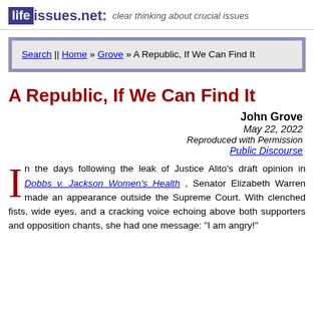lifeissues.net: clear thinking about crucial issues
Search || Home » Grove » A Republic, If We Can Find It
A Republic, If We Can Find It
John Grove
May 22, 2022
Reproduced with Permission
Public Discourse
In the days following the leak of Justice Alito's draft opinion in Dobbs v. Jackson Women's Health , Senator Elizabeth Warren made an appearance outside the Supreme Court. With clenched fists, wide eyes, and a cracking voice echoing above both supporters and opposition chants, she had one message: "I am angry!"